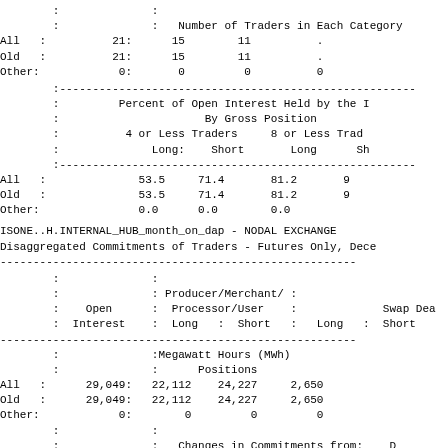|  |  | Number of Traders in Each Category |  |  |
| --- | --- | --- | --- | --- |
| All | 21: | 15 | 11 | . |
| Old | 21: | 15 | 11 | . |
| Other: | 0: | 0 | 0 | 0 |
|  |  | Percent of Open Interest Held by the | By Gross Position |  |
| --- | --- | --- | --- | --- |
|  |  | 4 or Less Traders | 8 or Less Trad |
|  |  | Long: | Short | Long | Sh |
| All |  | 53.5 | 71.4 | 81.2 | 9 |
| Old |  | 53.5 | 71.4 | 81.2 | 9 |
| Other: |  | 0.0 | 0.0 | 0.0 |  |
ISONE..H.INTERNAL_HUB_month_on_dap - NODAL EXCHANGE
Disaggregated Commitments of Traders - Futures Only, Dece
|  | Open Interest | Producer/Merchant/ Processor/User Long : Short | Long | Short | Swap Dea Short |
| --- | --- | --- | --- | --- | --- |
|  |  | Megawatt Hours (MWh) |  |  |
|  |  | Positions |  |  |
| All | 29,049: | 22,112 | 24,227 | 2,650 |  |
| Old | 29,049: | 22,112 | 24,227 | 2,650 |  |
| Other: | 0: | 0 | 0 | 0 |  |
|  |  | Changes in Commitments from: |  | D |